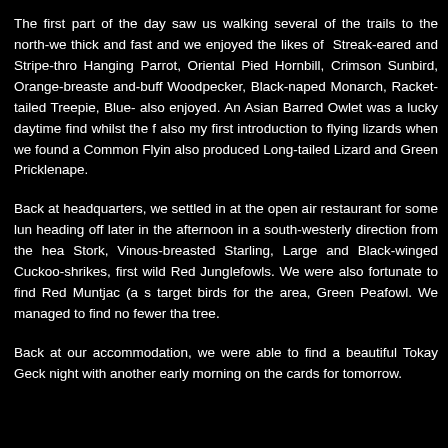The first part of the day saw us walking several of the trails to the north-we thick and fast and we enjoyed the likes of  Streak-eared and Stripe-thro Hanging Parrot, Oriental Pied Hornbill, Crimson Sunbird, Orange-breaste and-buff Woodpecker, Black-naped Monarch, Racket-tailed Treepie, Blue- also enjoyed. An Asian Barred Owlet was a lucky daytime find whilst the f also my first introduction to flying lizards when we found a Common Flyin also produced Long-tailed Lizard and Green Pricklenape.
Back at headquarters, we settled in at the open air restaurant for some lun heading off later in the afternoon in a south-westerly direction from the hea Stork, Vinous-breasted Starling, Large and Black-winged Cuckoo-shrikes, first wild Red Junglefowls. We were also fortunate to find Red Muntjac (a s target birds for the area, Green Peafowl. We managed to find no fewer tha tree.
Back at our accommodation, we were able to find a beautiful Tokay Geck night with another early morning on the cards for tomorrow.